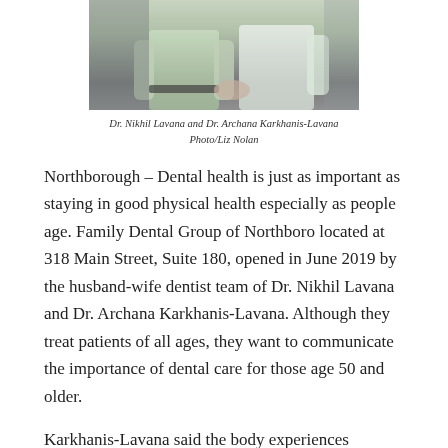[Figure (photo): Photo of Dr. Nikhil Lavana and Dr. Archana Karkhanis-Lavana, two people standing side by side, one in a green shirt and one in a white coat]
Dr. Nikhil Lavana and Dr. Archana Karkhanis-Lavana
Photo/Liz Nolan
Northborough – Dental health is just as important as staying in good physical health especially as people age. Family Dental Group of Northboro located at 318 Main Street, Suite 180, opened in June 2019 by the husband-wife dentist team of Dr. Nikhil Lavana and Dr. Archana Karkhanis-Lavana. Although they treat patients of all ages, they want to communicate the importance of dental care for those age 50 and older.
Karkhanis-Lavana said the body experiences hormonal and physical changes as people age, and it is important for